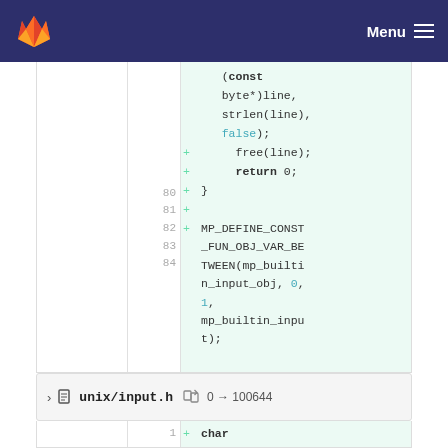GitLab Menu
[Figure (screenshot): GitLab diff view showing code lines 80-84 with added lines. Line 80: + free(line); Line 81: + return 0; Line 82: + } Line 83: + (empty) Line 84: + MP_DEFINE_CONST_FUN_OBJ_VAR_BETWEEN(mp_builtin_input_obj, 0, 1, mp_builtin_input); Also shows continuation lines at top: (const byte*)line, strlen(line), false);]
unix/input.h  0 → 100644
[Figure (screenshot): Bottom diff section showing line 1: + char *prompt(char]